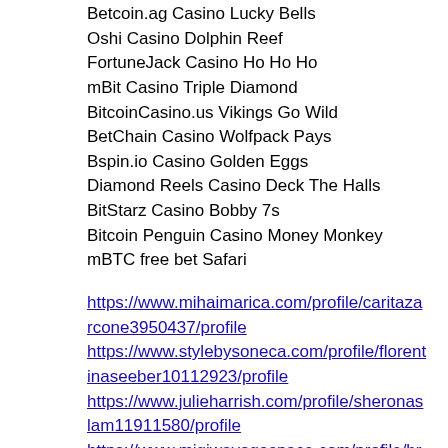Betcoin.ag Casino Lucky Bells
Oshi Casino Dolphin Reef
FortuneJack Casino Ho Ho Ho
mBit Casino Triple Diamond
BitcoinCasino.us Vikings Go Wild
BetChain Casino Wolfpack Pays
Bspin.io Casino Golden Eggs
Diamond Reels Casino Deck The Halls
BitStarz Casino Bobby 7s
Bitcoin Penguin Casino Money Monkey
mBTC free bet Safari
https://www.mihaimarica.com/profile/caritazarcone3950437/profile
https://www.stylebysoneca.com/profile/florentinaseeber10112923/profile
https://www.julieharrish.com/profile/sheronaslam11911580/profile
https://www.migiwayogaspace.com/profile/brandenfalterman7494367/profile
Ashlan Meadows, Selma, NC 27576